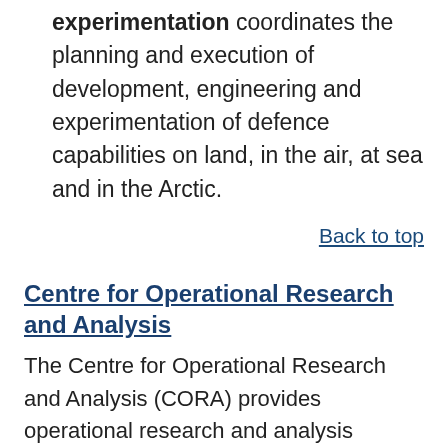experimentation coordinates the planning and execution of development, engineering and experimentation of defence capabilities on land, in the air, at sea and in the Arctic.
Back to top
Centre for Operational Research and Analysis
The Centre for Operational Research and Analysis (CORA) provides operational research and analysis research support to the Department of National Defence and Canadian Armed Forces...